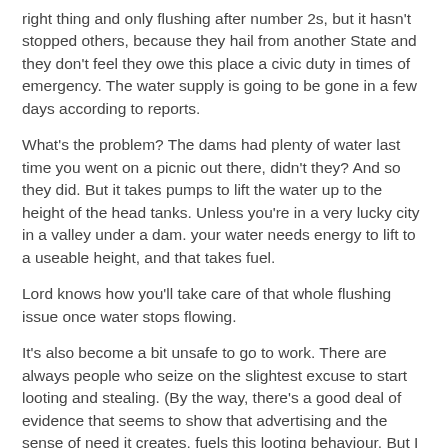right thing and only flushing after number 2s, but it hasn't stopped others, because they hail from another State and they don't feel they owe this place a civic duty in times of emergency. The water supply is going to be gone in a few days according to reports.
What's the problem? The dams had plenty of water last time you went on a picnic out there, didn't they? And so they did. But it takes pumps to lift the water up to the height of the head tanks. Unless you're in a very lucky city in a valley under a dam. your water needs energy to lift to a useable height, and that takes fuel.
Lord knows how you'll take care of that whole flushing issue once water stops flowing.
It's also become a bit unsafe to go to work. There are always people who seize on the slightest excuse to start looting and stealing. (By the way, there's a good deal of evidence that seems to show that advertising and the sense of need it creates, fuels this looting behaviour. But I digress.) They also seem to see anyone else as legitimate prey these days,